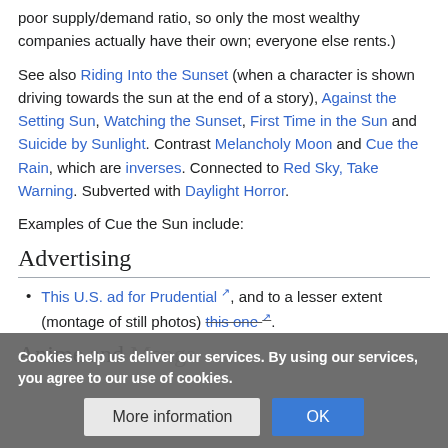poor supply/demand ratio, so only the most wealthy companies actually have their own; everyone else rents.)
See also Riding Into the Sunset (when a character is shown driving towards the sun at the end of a story), Against the Setting Sun, Watching the Sunset, First Time in the Sun and Suicide by Sunlight. Contrast Melancholy Moon and Cue the Rain, which are inverses. Connected to Red Sky, Take Warning. Subverted with Daylight Horror.
Examples of Cue the Sun include:
Advertising
This U.S. ad for Prudential, and to a lesser extent (montage of still photos) this one.
Anime and Manga
Cookies help us deliver our services. By using our services, you agree to our use of cookies.